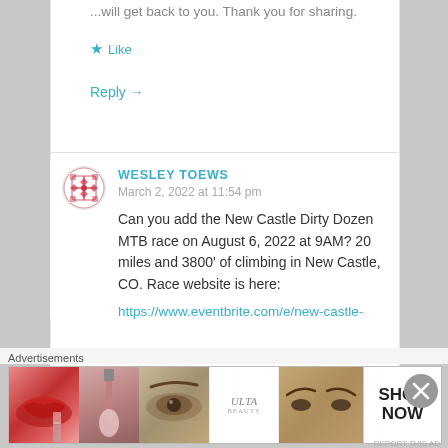... will get back to you. Thank you for sharing.
★ Like
Reply →
WESLEY TOEWS
March 2, 2022 at 11:54 pm
Can you add the New Castle Dirty Dozen MTB race on August 6, 2022 at 9AM? 20 miles and 3800' of climbing in New Castle, CO. Race website is here:
https://www.eventbrite.com/e/new-castle-
[Figure (illustration): Advertisement banner with beauty/makeup images including lips, makeup brush, eye, Ulta Beauty logo, eyebrows, and SHOP NOW button]
Advertisements